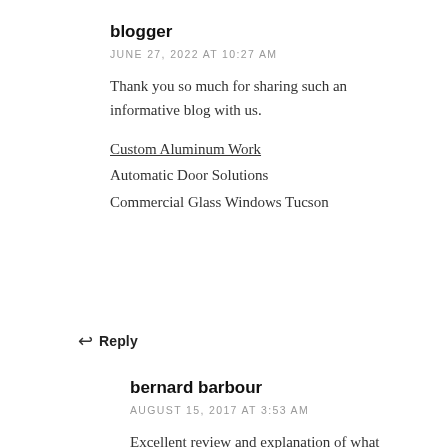blogger
JUNE 27, 2022 AT 10:27 AM
Thank you so much for sharing such an informative blog with us.
Custom Aluminum Work
Automatic Door Solutions
Commercial Glass Windows Tucson
↩ Reply
bernard barbour
AUGUST 15, 2017 AT 3:53 AM
Excellent review and explanation of what volunteers do. Thanks